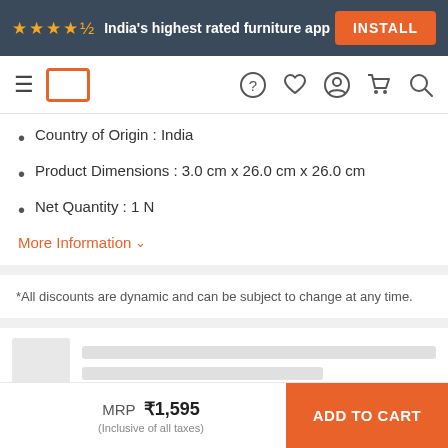★★★★½ India's highest rated furniture app  INSTALL
[Figure (screenshot): Navigation bar with hamburger menu, logo, and icons for help, wishlist, account, cart, and search]
Country of Origin : India
Product Dimensions : 3.0 cm x 26.0 cm x 26.0 cm
Net Quantity : 1 N
More Information ˅
*All discounts are dynamic and can be subject to change at any time.
[Figure (other): Product thumbnail placeholder rows with grey image boxes and grey text lines]
MRP  ₹1,595
(Inclusive of all taxes)
ADD TO CART